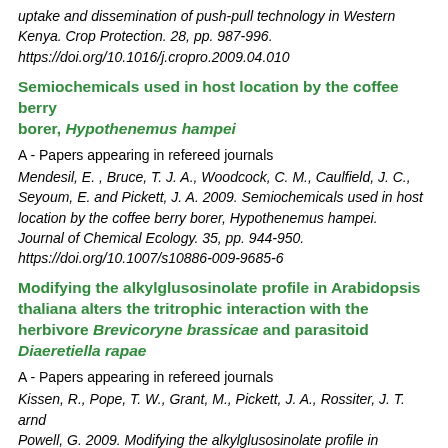uptake and dissemination of push-pull technology in Western Kenya. Crop Protection. 28, pp. 987-996. https://doi.org/10.1016/j.cropro.2009.04.010
Semiochemicals used in host location by the coffee berry borer, Hypothenemus hampei
A - Papers appearing in refereed journals
Mendesil, E. , Bruce, T. J. A., Woodcock, C. M., Caulfield, J. C., Seyoum, E. and Pickett, J. A. 2009. Semiochemicals used in host location by the coffee berry borer, Hypothenemus hampei. Journal of Chemical Ecology. 35, pp. 944-950. https://doi.org/10.1007/s10886-009-9685-6
Modifying the alkylglusosinolate profile in Arabidopsis thaliana alters the tritrophic interaction with the herbivore Brevicoryne brassicae and parasitoid Diaeretiella rapae
A - Papers appearing in refereed journals
Kissen, R., Pope, T. W., Grant, M., Pickett, J. A., Rossiter, J. T. and Powell, G. 2009. Modifying the alkylglusosinolate profile in